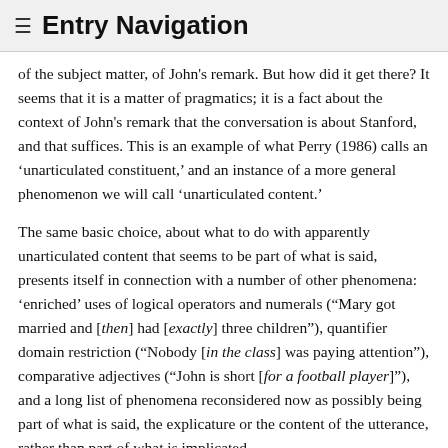≡ Entry Navigation
of the subject matter, of John's remark. But how did it get there? It seems that it is a matter of pragmatics; it is a fact about the context of John's remark that the conversation is about Stanford, and that suffices. This is an example of what Perry (1986) calls an 'unarticulated constituent,' and an instance of a more general phenomenon we will call 'unarticulated content.'
The same basic choice, about what to do with apparently unarticulated content that seems to be part of what is said, presents itself in connection with a number of other phenomena: 'enriched' uses of logical operators and numerals ("Mary got married and [then] had [exactly] three children"), quantifier domain restriction ("Nobody [in the class] was paying attention"), comparative adjectives ("John is short [for a football player]"), and a long list of phenomena reconsidered now as possibly being part of what is said, the explicature or the content of the utterance, rather than part of what is implicated.
Most contemporary theorists would acknowledge that in